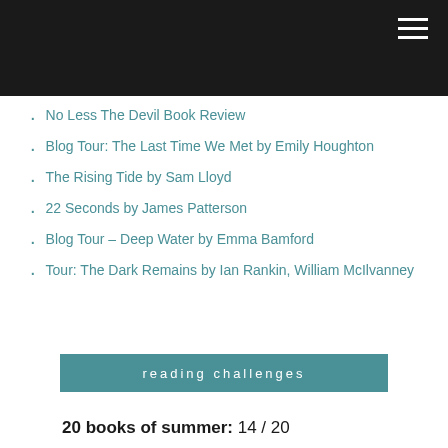No Less The Devil Book Review
Blog Tour: The Last Time We Met by Emily Houghton
The Rising Tide by Sam Lloyd
22 Seconds by James Patterson
Blog Tour – Deep Water by Emma Bamford
Tour: The Dark Remains by Ian Rankin, William McIlvanney
reading challenges
20 books of summer: 14 / 20